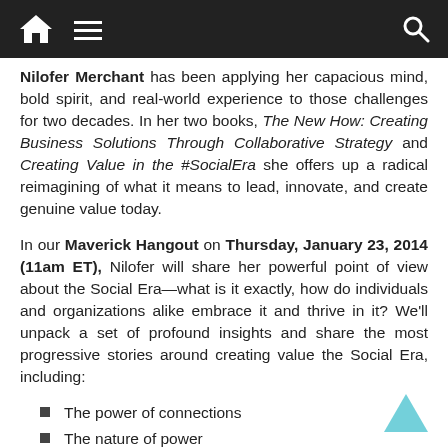Navigation bar with home, menu, and search icons
Nilofer Merchant has been applying her capacious mind, bold spirit, and real-world experience to those challenges for two decades. In her two books, The New How: Creating Business Solutions Through Collaborative Strategy and Creating Value in the #SocialEra she offers up a radical reimagining of what it means to lead, innovate, and create genuine value today.
In our Maverick Hangout on Thursday, January 23, 2014 (11am ET), Nilofer will share her powerful point of view about the Social Era—what is it exactly, how do individuals and organizations alike embrace it and thrive in it? We'll unpack a set of profound insights and share the most progressive stories around creating value the Social Era, including:
The power of connections
The nature of power